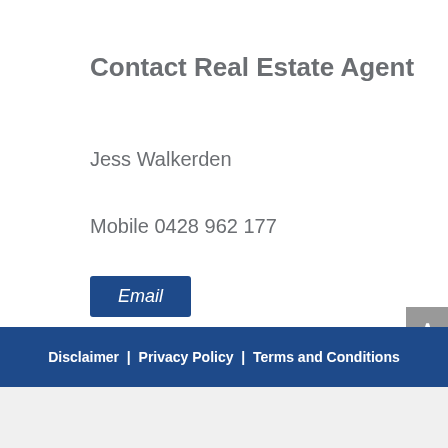Contact Real Estate Agent
Jess Walkerden
Mobile 0428 962 177
Email
Disclaimer  |  Privacy Policy  |  Terms and Conditions